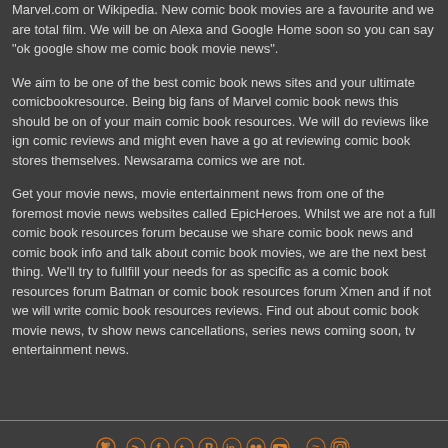Marvel.com or Wikipedia. New comic book movies are a favourite and we are total film. We will be on Alexa and Google Home soon so you can say "ok google show me comic book movie news".
We aim to be one of the best comic book news sites and your ultimate comicbookresource. Being big fans of Marvel comic book news this should be on of your main comic book resources. We will do reviews like ign comic reviews and might even have a go at reviewing comic book stores themselves. Newsarama comics we are not.
Get your movie news, movie entertainment news from one of the foremost movie news websites called EpicHeroes. Whilst we are not a full comic book resources forum because we share comic book news and comic book info and talk about comic book movies, we are the next best thing. We'll try to fullfill your needs for as specific as a comic book resources forum Batman or comic book resources forum Xmen and if not we will write comic book resources reviews. Find out about comic book movie news, tv show news cancellations, series news coming soon, tv entertainment news.
[Figure (other): Row of social media icons: RSS, Facebook, Twitter, Pinterest, LinkedIn, Flickr, YouTube, unknown, Instagram]
© Copyright Epic Heroes 2022. All Rights Reserved ¦ Privacy Policy ¦ Return Policy